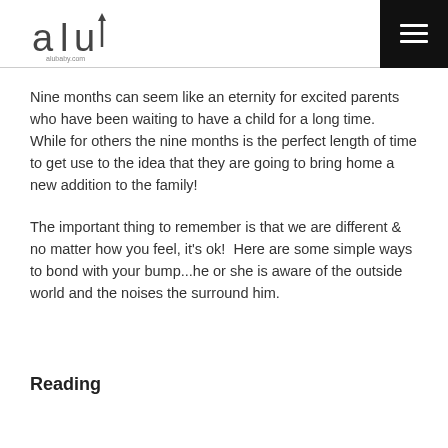alubaby.com logo and navigation menu
Nine months can seem like an eternity for excited parents who have been waiting to have a child for a long time.   While for others the nine months is the perfect length of time to get use to the idea that they are going to bring home a new addition to the family!
The important thing to remember is that we are different & no matter how you feel, it's ok!  Here are some simple ways to bond with your bump...he or she is aware of the outside world and the noises the surround him.
Reading